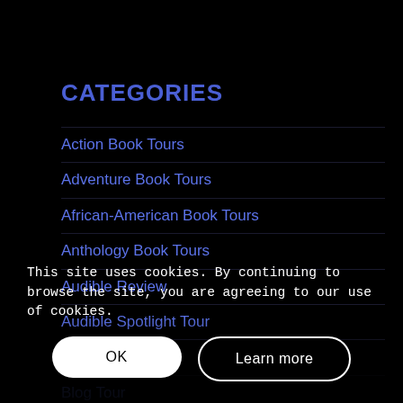CATEGORIES
Action Book Tours
Adventure Book Tours
African-American Book Tours
Anthology Book Tours
Audible Review
Audible Spotlight Tour
Blog
Blog Tour
Book Spotlight Tour
Charity Book Tours
Children Book Tours
This site uses cookies. By continuing to browse the site, you are agreeing to our use of cookies.
OK
Learn more